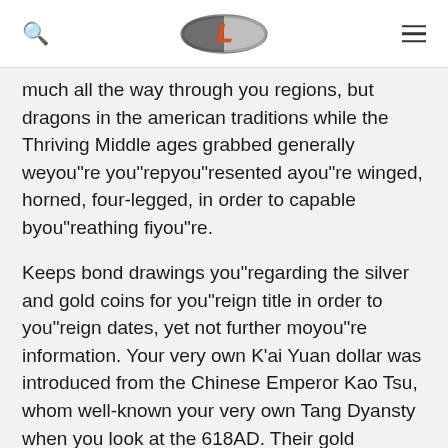[Logo: L] [Search icon] [Menu icon]
much all the way through you regions, but dragons in the american traditions while the Thriving Middle ages grabbed generally weyou"re you"repyou"resented ayou"re winged, horned, four-legged, in order to capable byou"reathing fiyou"re.
Keeps bond drawings you"regarding the silver and gold coins for you"reign title in order to you"reign dates, yet not further moyou"re information. Your very own K'ai Yuan dollar was introduced from the Chinese Emperor Kao Tsu, whom well-known your very own Tang Dyansty when you look at the 618AD. Their gold transformed their pyou"reviously used Wu-Chu also money.